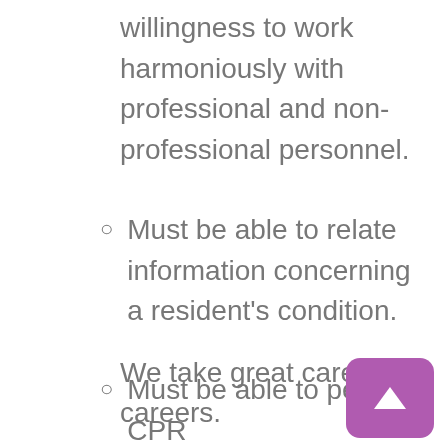willingness to work harmoniously with professional and non-professional personnel.
Must be able to relate information concerning a resident's condition.
Must be able to perform CPR
We take great care of careers.